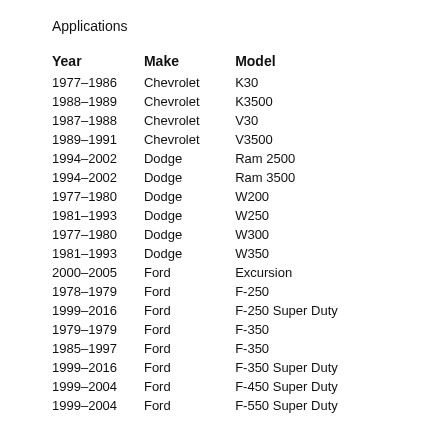Applications
| Year | Make | Model |
| --- | --- | --- |
| 1977–1986 | Chevrolet | K30 |
| 1988–1989 | Chevrolet | K3500 |
| 1987–1988 | Chevrolet | V30 |
| 1989–1991 | Chevrolet | V3500 |
| 1994–2002 | Dodge | Ram 2500 |
| 1994–2002 | Dodge | Ram 3500 |
| 1977–1980 | Dodge | W200 |
| 1981–1993 | Dodge | W250 |
| 1977–1980 | Dodge | W300 |
| 1981–1993 | Dodge | W350 |
| 2000–2005 | Ford | Excursion |
| 1978–1979 | Ford | F-250 |
| 1999–2016 | Ford | F-250 Super Duty |
| 1979–1979 | Ford | F-350 |
| 1985–1997 | Ford | F-350 |
| 1999–2016 | Ford | F-350 Super Duty |
| 1999–2004 | Ford | F-450 Super Duty |
| 1999–2004 | Ford | F-550 Super Duty |